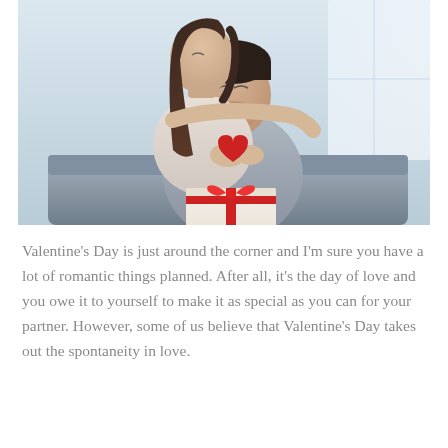[Figure (photo): A couple sitting together, woman hugging man from behind on a couch. Man is smiling and holding a white gift box with a red ribbon. Woman is holding a red paper heart against the man's grey sweater. Light, bright indoor setting.]
Valentine's Day is just around the corner and I'm sure you have a lot of romantic things planned. After all, it's the day of love and you owe it to yourself to make it as special as you can for your partner. However, some of us believe that Valentine's Day takes out the spontaneity in love.